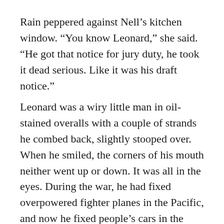Rain peppered against Nell’s kitchen window. “You know Leonard,” she said. “He got that notice for jury duty, he took it dead serious. Like it was his draft notice.”
Leonard was a wiry little man in oil-stained overalls with a couple of strands he combed back, slightly stooped over. When he smiled, the corners of his mouth neither went up or down. It was all in the eyes. During the war, he had fixed overpowered fighter planes in the Pacific, and now he fixed people’s cars in the garage behind the house. All day long, fixing people’s cars, listening to the radio. Every now and then he’d take